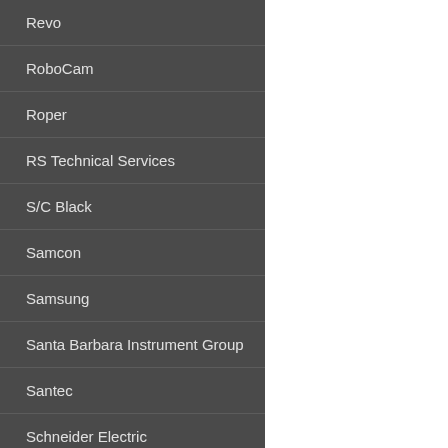Revo
RoboCam
Roper
RS Technical Services
S/C Black
Samcon
Samsung
Santa Barbara Instrument Group
Santec
Schneider Electric
SCS